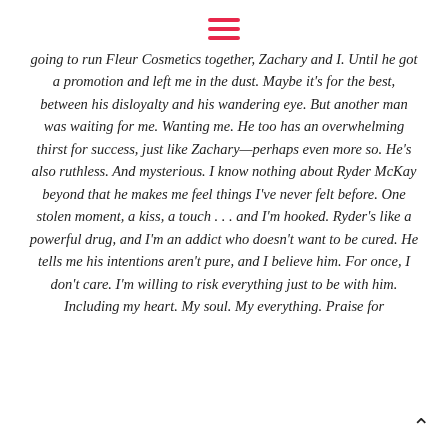[hamburger menu icon]
going to run Fleur Cosmetics together, Zachary and I.   Until he got a promotion and left me in the dust. Maybe it’s for the best, between his disloyalty and his wandering eye. But another man was waiting for me. Wanting me. He too has an overwhelming thirst for success, just like Zachary—perhaps even more so. He’s also ruthless. And mysterious. I know nothing about Ryder McKay beyond that he makes me feel things I’ve never felt before.   One stolen moment, a kiss, a touch . . . and I’m hooked. Ryder’s like a powerful drug, and I’m an addict who doesn’t want to be cured. He tells me his intentions aren’t pure, and I believe him. For once, I don’t care. I’m willing to risk everything just to be with him. Including my heart. My soul.   My everything.  Praise for